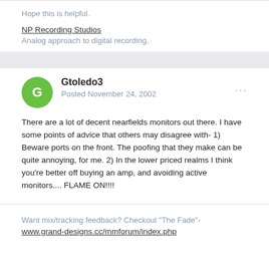Hope this is helpful.
NP Recording Studios
Analog approach to digital recording.
Gtoledo3
Posted November 24, 2002
There are a lot of decent nearfields monitors out there. I have some points of advice that others may disagree with- 1) Beware ports on the front. The poofing that they make can be quite annoying, for me. 2) In the lower priced realms I think you're better off buying an amp, and avoiding active monitors.... FLAME ON!!!!
Want mix/tracking feedback? Checkout "The Fade"-
www.grand-designs.cc/mmforum/index.php